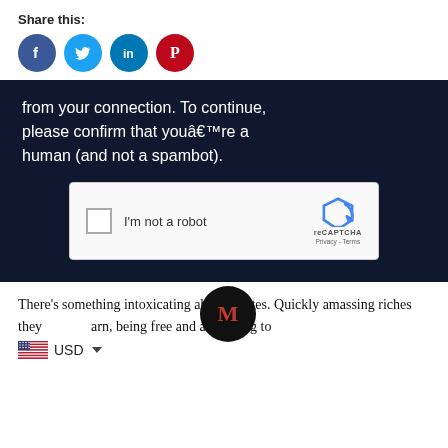Share this:
[Figure (infographic): Four social media share icons: Facebook (blue), Twitter (light blue), LinkedIn (blue), Pinterest (red)]
[Figure (screenshot): Dark navy background with text: 'from your connection. To continue, please confirm that youâ€™re a human (and not a spambot).' Below is a reCAPTCHA widget with checkbox labeled 'I'm not a robot' and reCAPTCHA logo with Privacy - Terms links.]
There’s something intoxicating about Pirates. Quickly amassing riches they earn, being free and answering to
[Figure (infographic): Black circular avatar with red letter M in decorative font, overlapping the body text. Below: US flag icon and USD dropdown label.]